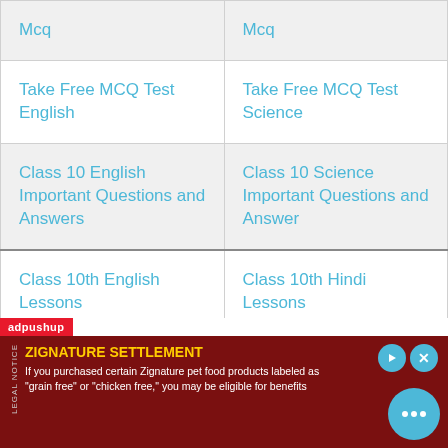| Mcq | Mcq |
| Take Free MCQ Test English | Take Free MCQ Test Science |
| Class 10 English Important Questions and Answers | Class 10 Science Important Questions and Answer |
| Class 10th English Lessons | Class 10th Hindi Lessons |
| Class 10th English | Class 10th Hindi Mcq |
[Figure (other): Advertisement banner: adpushup ad for Zignature Settlement. Red background with text: ZIGNATURE SETTLEMENT - If you purchased certain Zignature pet food products labeled as 'grain free' or 'chicken free,' you may be eligible for benefits]